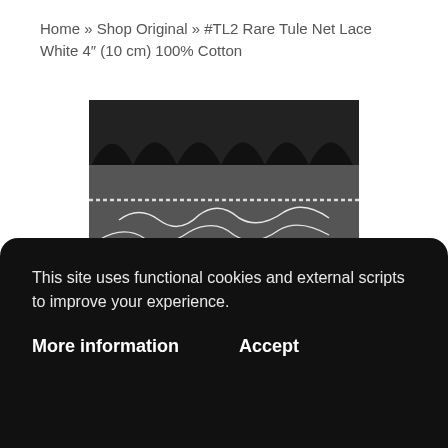Home » Shop Original » #TL2 Rare Tule Net Lace White 4" (10 cm) 100% Cotton
[Figure (photo): Close-up photograph of white tule net lace fabric with scalloped top edge and embroidered floral pattern on dark background]
This site uses functional cookies and external scripts to improve your experience.
More information
Accept